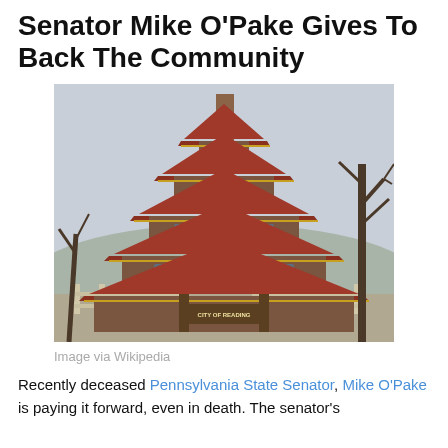Senator Mike O'Pake Gives To Back The Community
[Figure (photo): A multi-tiered pagoda-style building with red roofs and gold trim, labeled 'City of Reading', surrounded by bare trees in winter. Image via Wikipedia.]
Image via Wikipedia
Recently deceased Pennsylvania State Senator, Mike O'Pake is paying it forward, even in death. The senator's